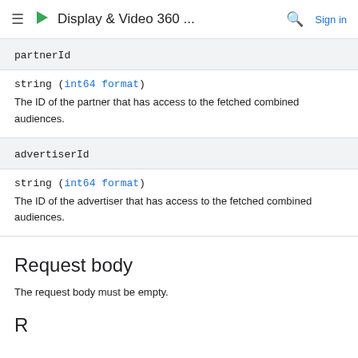Display & Video 360 ...
partnerId
string (int64 format)
The ID of the partner that has access to the fetched combined audiences.
advertiserId
string (int64 format)
The ID of the advertiser that has access to the fetched combined audiences.
Request body
The request body must be empty.
R